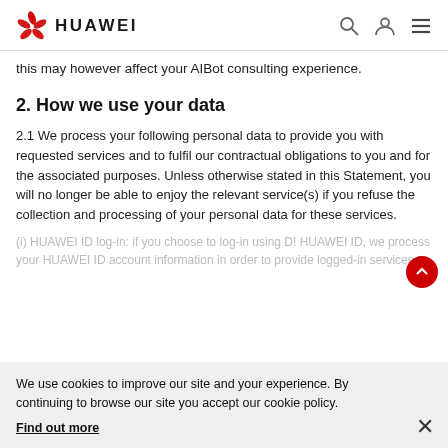HUAWEI
this may however affect your AIBot consulting experience.
2. How we use your data
2.1 We process your following personal data to provide you with requested services and to fulfil our contractual obligations to you and for the associated purposes. Unless otherwise stated in this Statement, you will no longer be able to enjoy the relevant service(s) if you refuse the collection and processing of your personal data for these services.
We use cookies to improve our site and your experience. By continuing to browse our site you accept our cookie policy. Find out more
(i) HUAWEIID log-in: if you choose to log-in using D! HUAWEI ID, we process your HUAWEI ID account information in order to provide logged-in services to